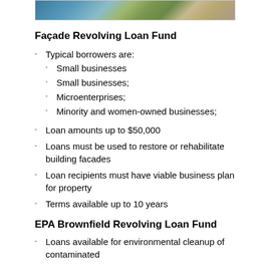[Figure (photo): Aerial or overhead photograph of a building/street scene, partially visible at top of page]
Façade Revolving Loan Fund
Typical borrowers are:
Small businesses
Small businesses;
Microenterprises;
Minority and women-owned businesses;
Loan amounts up to $50,000
Loans must be used to restore or rehabilitate building facades
Loan recipients must have viable business plan for property
Terms available up to 10 years
EPA Brownfield Revolving Loan Fund
Loans available for environmental cleanup of contaminated